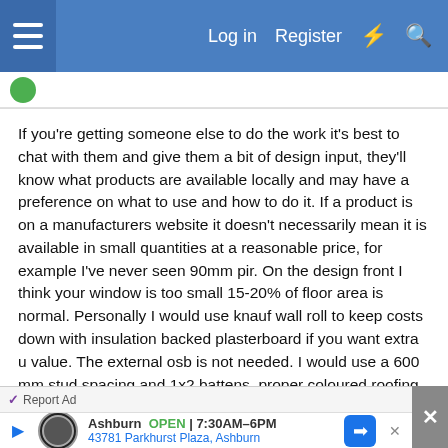Log in  Register
If you're getting someone else to do the work it's best to chat with them and give them a bit of design input, they'll know what products are available locally and may have a preference on what to use and how to do it. If a product is on a manufacturers website it doesn't necessarily mean it is available in small quantities at a reasonable price, for example I've never seen 90mm pir. On the design front I think your window is too small 15-20% of floor area is normal. Personally I would use knauf wall roll to keep costs down with insulation backed plasterboard if you want extra u value. The external osb is not needed. I would use a 600 mm stud spacing and 1x2 battens ,proper coloured roofing
[Figure (screenshot): Advertisement banner for Idea Auto in Ashburn, showing logo, OPEN 7:30AM-6PM, address 43781 Parkhurst Plaza Ashburn, with navigation arrow icon]